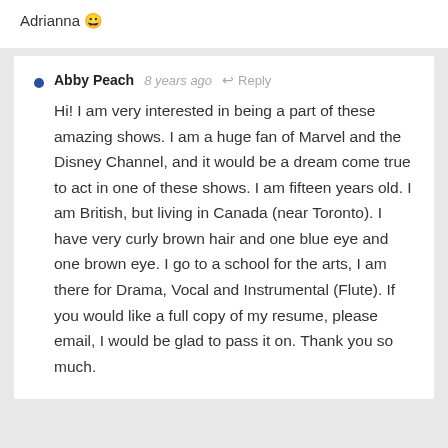Adrianna 😀
Abby Peach  8 years ago  Reply

Hi! I am very interested in being a part of these amazing shows. I am a huge fan of Marvel and the Disney Channel, and it would be a dream come true to act in one of these shows. I am fifteen years old. I am British, but living in Canada (near Toronto). I have very curly brown hair and one blue eye and one brown eye. I go to a school for the arts, I am there for Drama, Vocal and Instrumental (Flute). If you would like a full copy of my resume, please email, I would be glad to pass it on. Thank you so much.